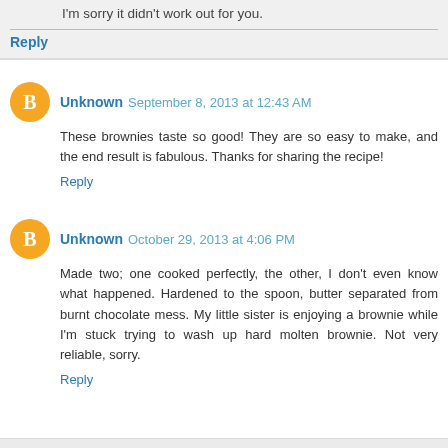I'm sorry it didn't work out for you.
Reply
Unknown September 8, 2013 at 12:43 AM
These brownies taste so good! They are so easy to make, and the end result is fabulous. Thanks for sharing the recipe!
Reply
Unknown October 29, 2013 at 4:06 PM
Made two; one cooked perfectly, the other, I don't even know what happened. Hardened to the spoon, butter separated from burnt chocolate mess. My little sister is enjoying a brownie while I'm stuck trying to wash up hard molten brownie. Not very reliable, sorry.
Reply